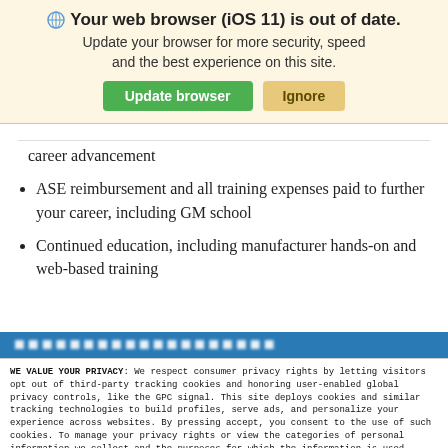[Figure (screenshot): Browser update notification banner with globe icon, warning message 'Your web browser (iOS 11) is out of date. Update your browser for more security, speed and the best experience on this site.' with green 'Update browser' button and tan 'Ignore' button.]
career advancement
ASE reimbursement and all training expenses paid to further your career, including GM school
Continued education, including manufacturer hands-on and web-based training
[Figure (screenshot): Partially visible blue section header bar with blurred/obscured white text]
WE VALUE YOUR PRIVACY: We respect consumer privacy rights by letting visitors opt out of third-party tracking cookies and honoring user-enabled global privacy controls, like the GPC signal. This site deploys cookies and similar tracking technologies to build profiles, serve ads, and personalize your experience across websites. By pressing accept, you consent to the use of such cookies. To manage your privacy rights or view the categories of personal information we collect and the purposes for which the information is used, click here.
Language: English  ✓  Powered by ComplyAuto
Accept and Continue →   Privacy Policy   ×